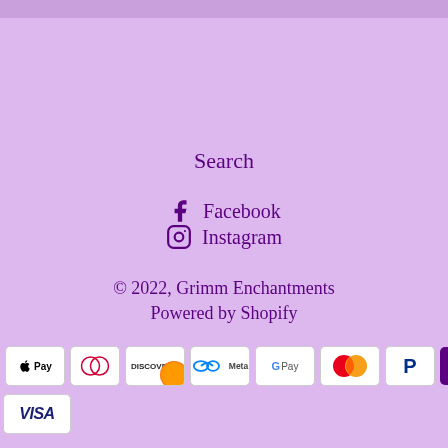Search
Facebook
Instagram
© 2022, Grimm Enchantments
Powered by Shopify
[Figure (other): Payment method icons: American Express, Apple Pay, Diners Club, Discover, Meta Pay, Google Pay, Mastercard, PayPal, ShopPay, Venmo, Visa]